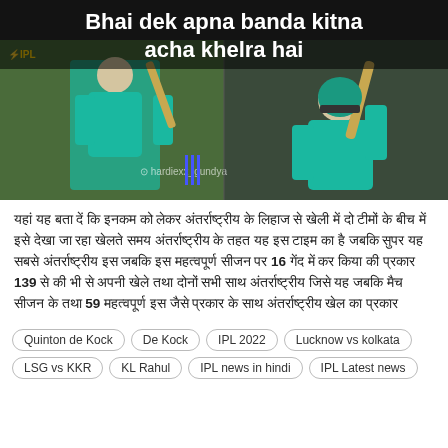[Figure (photo): Cricket meme image showing a player in teal/turquoise Lucknow Super Giants kit with text overlay 'Bhai dek apna banda kitna acha khelra hai' and watermark 'hardiexx_gundya'. Split image showing two poses of the cricketer with bat.]
हिंदी में क्रिकेट समाचार से संबंधित पाठ जिसमें 16, 139, और 59 जैसे अंक उल्लिखित हैं।
Quinton de Kock
De Kock
IPL 2022
Lucknow vs kolkata
LSG vs KKR
KL Rahul
IPL news in hindi
IPL Latest news